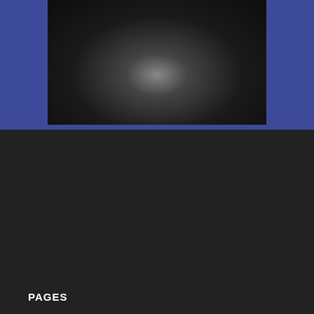[Figure (photo): Dark oval/dome shaped object photographed against a dark background, appears to be an X-ray or medical/scientific image]
PAGES
About
Documents
Essays and Articles
FBI Documents
FDA Documents
Navy Documents
Promotional material